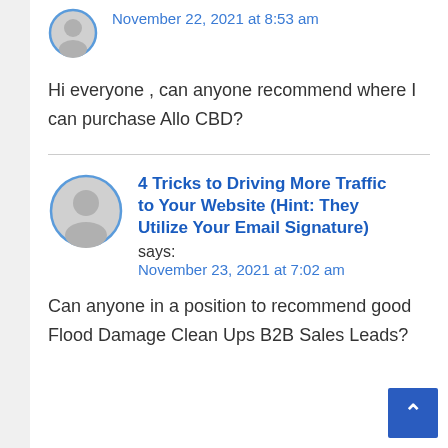[Figure (illustration): Gray avatar circle icon, small, top comment]
November 22, 2021 at 8:53 am
Hi everyone , can anyone recommend where I can purchase Allo CBD?
[Figure (illustration): Gray avatar circle icon, larger, bottom comment]
4 Tricks to Driving More Traffic to Your Website (Hint: They Utilize Your Email Signature)
says:
November 23, 2021 at 7:02 am
Can anyone in a position to recommend good Flood Damage Clean Ups B2B Sales Leads?